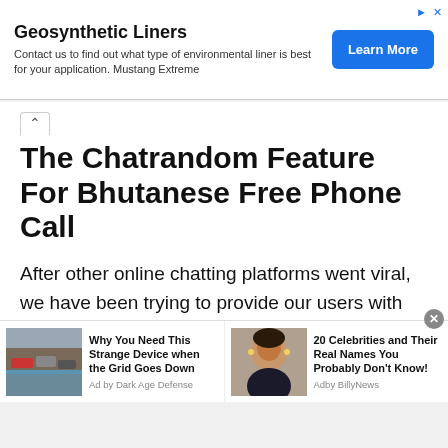[Figure (other): Advertisement banner for Geosynthetic Liners with Learn More button]
The Chatrandom Feature For Bhutanese Free Phone Call
After other online chatting platforms went viral, we have been trying to provide our users with similar features to the famous online video chatting sites such as Chatroulette, Chatrandom, and omegle chat , etc. Hence, our online video chatting platform has seen an increase in the number of daily users. With over 800 000 users per
[Figure (other): Two sponsored content ad items at bottom: 'Why You Need This Strange Device when the Grid Goes Down' by Dark Age Defense, and '20 Celebrities and Their Real Names You Probably Don't Know!' by Adby BillyNews]